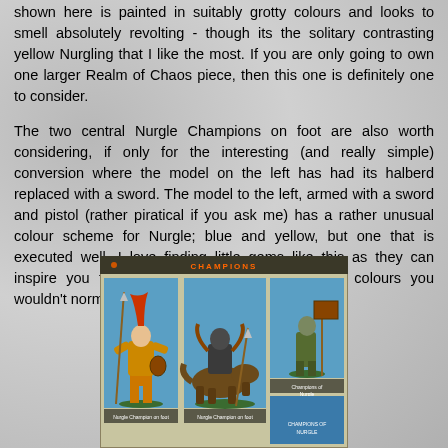shown here is painted in suitably grotty colours and looks to smell absolutely revolting - though its the solitary contrasting yellow Nurgling that I like the most. If you are only going to own one larger Realm of Chaos piece, then this one is definitely one to consider.
The two central Nurgle Champions on foot are also worth considering, if only for the interesting (and really simple) conversion where the model on the left has had its halberd replaced with a sword. The model to the left, armed with a sword and pistol (rather piratical if you ask me) has a rather unusual colour scheme for Nurgle; blue and yellow, but one that is executed well. I love finding little gems like this as they can inspire you to paint up your Nurgle models in colours you wouldn't normally consider.
[Figure (photo): Product catalog image showing three Nurgle Champions miniature figures. Left panel: a champion on foot with spear and colorful plume, yellow and orange color scheme. Center panel: a champion mounted on a beast/horse, dark armor. Right panel: a champion on foot with weapon. Each panel has a blue background. A small header bar at top reads 'Champions' in orange text on dark background. Caption labels beneath figures appear to read 'Nurgle Champion on foot' and 'Champions of Nurgle'.]